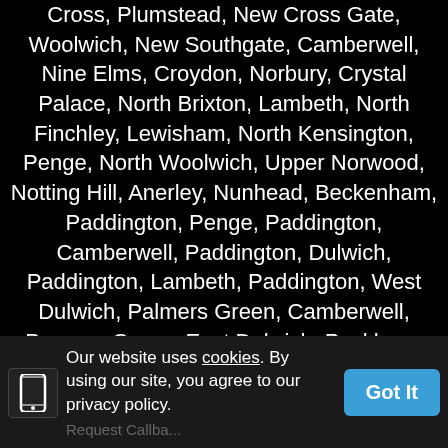Cross, Plumstead, New Cross Gate, Woolwich, New Southgate, Camberwell, Nine Elms, Croydon, Norbury, Crystal Palace, North Brixton, Lambeth, North Finchley, Lewisham, North Kensington, Penge, North Woolwich, Upper Norwood, Notting Hill, Anerley, Nunhead, Beckenham, Paddington, Penge, Paddington, Camberwell, Paddington, Dulwich, Paddington, Lambeth, Paddington, West Dulwich, Palmers Green, Camberwell, Parsons Green, East Dulwich, Peckham, Wandsworth, Penge, Forest Hill, Penge, Lewisham, Pimlico, Camberwell, Plaistow, Herne Hill, Plumstead, Lambeth, Poplar, Croydon, Poplar, Lambeth,
Our website uses cookies. By using our site, you agree to our privacy policy.
Got It